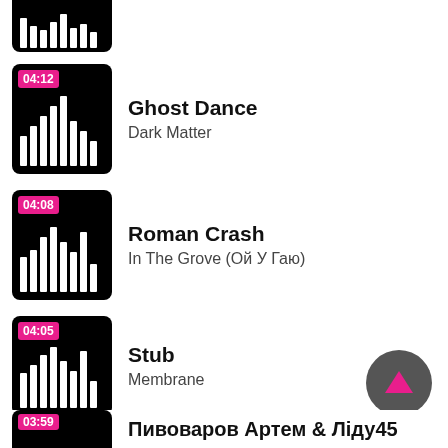[Figure (screenshot): Partial music track thumbnail at top, black with equalizer bars, duration badge not visible]
04:12 Ghost Dance / Dark Matter
04:08 Roman Crash / In The Grove (Ой У Гаю)
04:05 Stub / Membrane
04:02 Florence The Machine / My Love (Meduza Rmx)
03:59 Пивоваров Артем & Ліду45